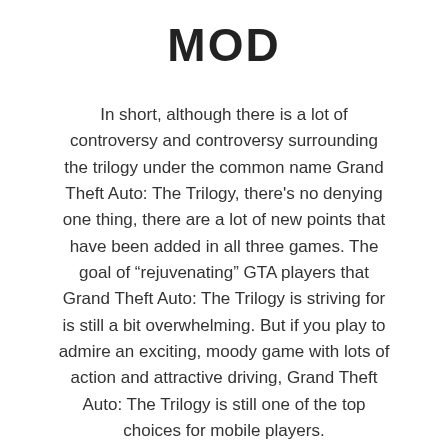MOD
In short, although there is a lot of controversy and controversy surrounding the trilogy under the common name Grand Theft Auto: The Trilogy, there's no denying one thing, there are a lot of new points that have been added in all three games. The goal of “rejuvenating” GTA players that Grand Theft Auto: The Trilogy is striving for is still a bit overwhelming. But if you play to admire an exciting, moody game with lots of action and attractive driving, Grand Theft Auto: The Trilogy is still one of the top choices for mobile players.
DOWNLOAD Links: